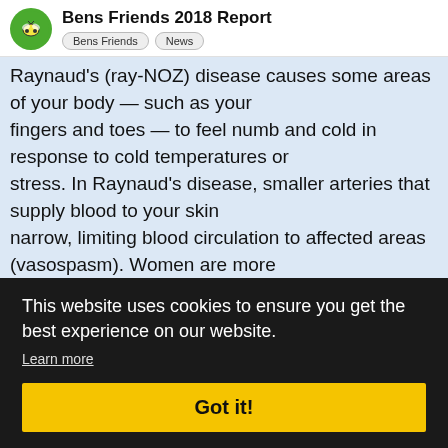Bens Friends 2018 Report | Bens Friends | News
Raynaud's (ray-NOZ) disease causes some areas of your body — such as your fingers and toes — to feel numb and cold in response to cold temperatures or stress. In Raynaud's disease, smaller arteries that supply blood to your skin narrow, limiting blood circulation to affected areas (vasospasm). Women are more likely than men to have Raynaud's disease, also known as
This website uses cookies to ensure you get the best experience on our website. Learn more Got it!
(granulomas) in different parts of your bo